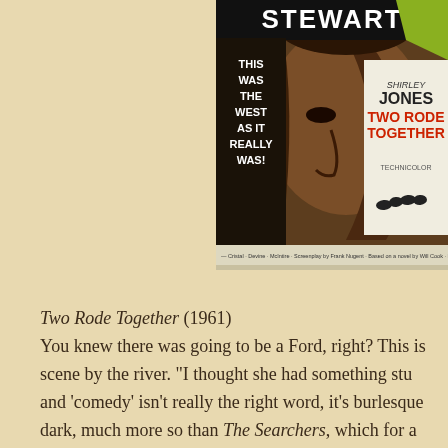[Figure (photo): Movie poster for 'Two Rode Together' (1961) featuring James Stewart and Shirley Jones. The poster shows a close-up of a man's face in brown tones, with text 'THIS WAS THE WEST AS IT REALLY WAS!' on the left, 'STEWART' at the top, 'SHIRLEY JONES' and 'TWO RODE TOGETHER' in red letters on the right, 'TECHNICOLOR' and credits at the bottom. Partially cropped on the right and top edges.]
Two Rode Together (1961)
You knew there was going to be a Ford, right? This is scene by the river. "I thought she had something stu and 'comedy' isn't really the right word, it's burlesque dark, much more so than The Searchers, which for a hope. Two Rode Together is despairing.